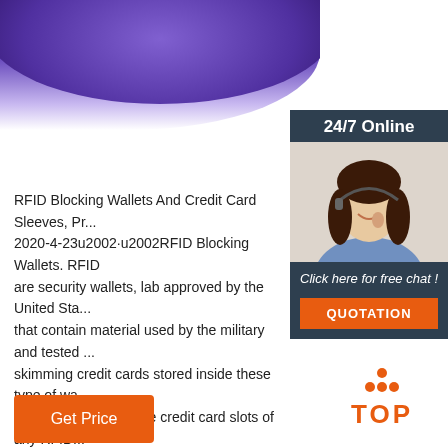[Figure (photo): Purple/violet wallet photographed from above, blurred background, top portion of page]
[Figure (photo): Sidebar with dark teal background showing '24/7 Online' header, photo of a woman with headset smiling, 'Click here for free chat!' text, and orange QUOTATION button]
RFID Blocking Wallets And Credit Card Sleeves, Pr... 2020-4-23u2002·u2002RFID Blocking Wallets. RFID are security wallets, lab approved by the United Sta... that contain material used by the military and tested ... skimming credit cards stored inside these type of wa... your credit cards to the credit card slots of any RFID... information is fully protected.
[Figure (other): Orange 'Get Price' button]
[Figure (logo): Orange TOP logo with dots arranged in triangle above the word TOP]